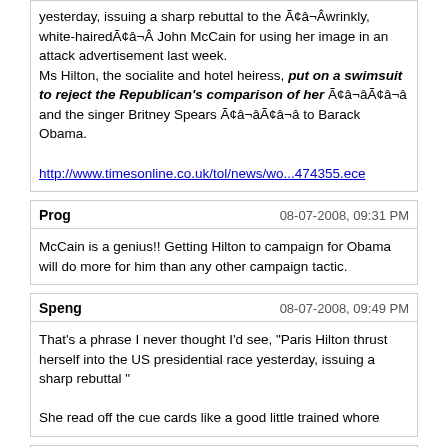yesterday, issuing a sharp rebuttal to the Ã¢â¬Âwrinkly, white-hairedÃ¢â¬Â John McCain for using her image in an attack advertisement last week. Ms Hilton, the socialite and hotel heiress, put on a swimsuit to reject the Republican's comparison of her Ã¢â¬âand the singer Britney Spears Ã¢â¬â to Barack Obama.

http://www.timesonline.co.uk/tol/news/wo...474355.ece
Prog	08-07-2008, 09:31 PM
McCain is a genius!! Getting Hilton to campaign for Obama will do more for him than any other campaign tactic.
Speng	08-07-2008, 09:49 PM
That's a phrase I never thought I'd see, "Paris Hilton thrust herself into the US presidential race yesterday, issuing a sharp rebuttal "

She read off the cue cards like a good little trained whore
Hooch	08-07-2008, 10:47 PM
That is hilarious and extremely well done. I laughed my ass off.

"I'll see you at the debates, bitches."
Chef_Tony	08-07-2008, 11:14 PM